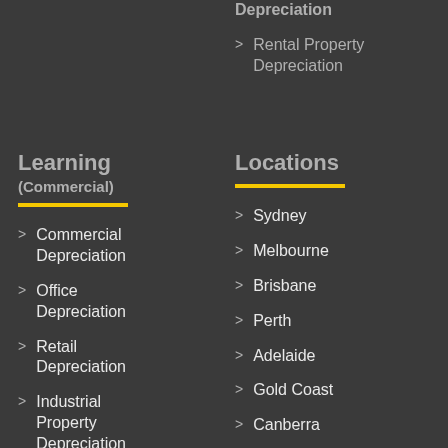Depreciation
Rental Property Depreciation
Learning
(Commercial)
Commercial Depreciation
Office Depreciation
Retail Depreciation
Industrial Property Depreciation
Locations
Sydney
Melbourne
Brisbane
Perth
Adelaide
Gold Coast
Canberra
Hobart